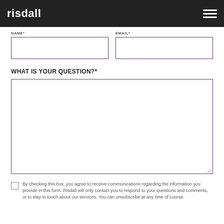risdall
NAME*
EMAIL*
WHAT IS YOUR QUESTION?*
By checking this box, you agree to receive communications regarding the information you provide in this form. Risdall will only contact you to respond to your questions and comments, or to stay in touch about our services. You can unsubscribe at any time of course.